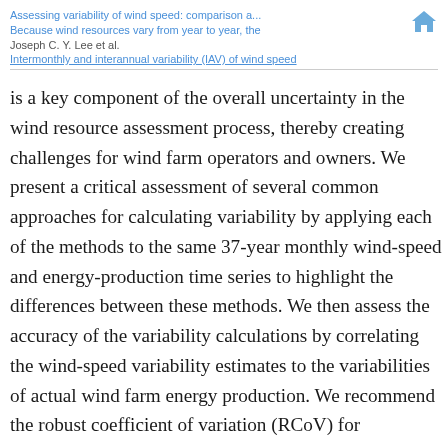Assessing variability of wind speed: comparison a...
Because wind resources vary from year to year, the
Joseph C. Y. Lee et al.
Intermonthly and interannual variability (IAV) of wind speed
is a key component of the overall uncertainty in the wind resource assessment process, thereby creating challenges for wind farm operators and owners. We present a critical assessment of several common approaches for calculating variability by applying each of the methods to the same 37-year monthly wind-speed and energy-production time series to highlight the differences between these methods. We then assess the accuracy of the variability calculations by correlating the wind-speed variability estimates to the variabilities of actual wind farm energy production. We recommend the robust coefficient of variation (RCoV) for systematically estimating variability, and we underscore its advantages as well as the importance of using a statistically robust and resistant method. Using normalized spread metrics, including RCoV, high variability of monthly mean